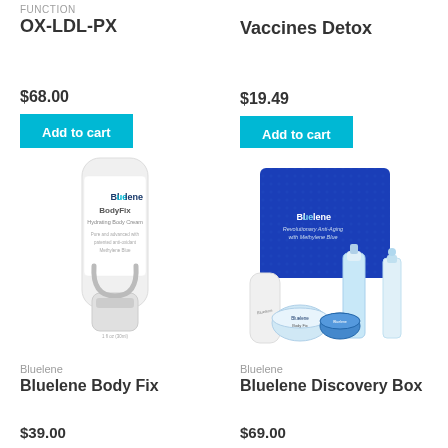FUNCTION
OX-LDL-PX
$68.00
Add to cart
Vaccines Detox
$19.49
Add to cart
[Figure (photo): Bluelene BodyFix Hydrating Body Cream tube, white with gray accents]
[Figure (photo): Bluelene Discovery Box set with blue box and multiple skincare products]
Bluelene
Bluelene Body Fix
Bluelene
Bluelene Discovery Box
$39.00
$69.00